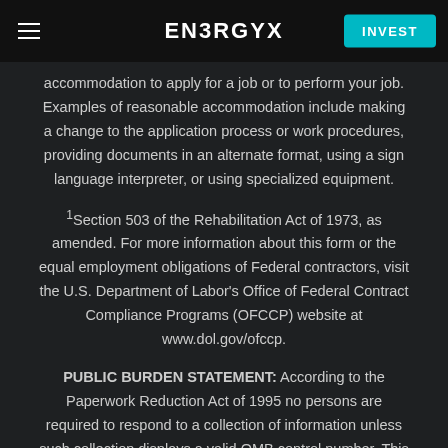ENERGYX | INVEST
accommodation to apply for a job or to perform your job. Examples of reasonable accommodation include making a change to the application process or work procedures, providing documents in an alternate format, using a sign language interpreter, or using specialized equipment.
1Section 503 of the Rehabilitation Act of 1973, as amended. For more information about this form or the equal employment obligations of Federal contractors, visit the U.S. Department of Labor's Office of Federal Contract Compliance Programs (OFCCP) website at www.dol.gov/ofccp.
PUBLIC BURDEN STATEMENT: According to the Paperwork Reduction Act of 1995 no persons are required to respond to a collection of information unless such collection displays a valid OMB control number. This survey should take about 5 minutes to complete.